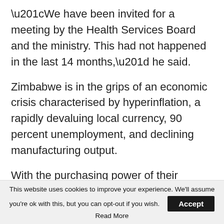“We have been invited for a meeting by the Health Services Board and the ministry. This had not happened in the last 14 months,” he said.
Zimbabwe is in the grips of an economic crisis characterised by hyperinflation, a rapidly devaluing local currency, 90 percent unemployment, and declining manufacturing output.
With the purchasing power of their salaries decimated by an inflation rate upwards of 132
This website uses cookies to improve your experience. We’ll assume you’re ok with this, but you can opt-out if you wish. Accept
Read More